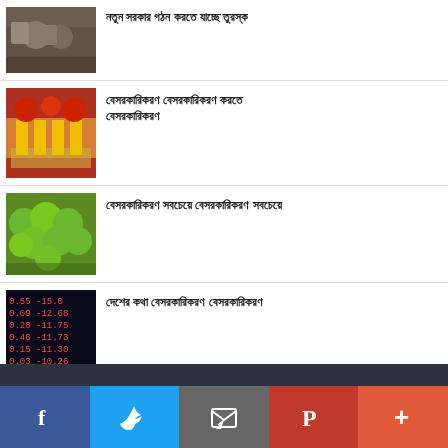নতুন সরকার গঠন করতে যাচ্ছে তুরস্ক
বেসরকারিকরণ বেসরকারিকরণ করতে বেসরকারিকরণ
বেসরকারিকরণ সবচেয়ে বেসরকারিকরণ সবচেয়ে
দেশের কথা বেসরকারিকরণ বেসরকারিকরণ
Social share bar: Facebook, Twitter, Email, Pinterest, More